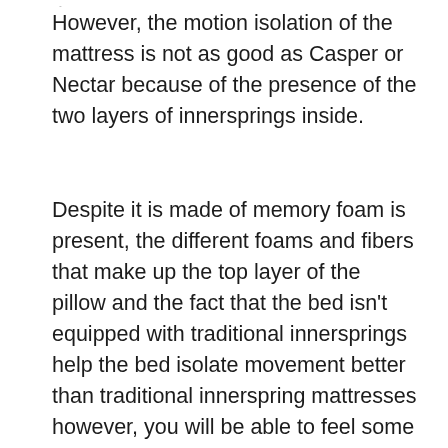the test.
However, the motion isolation of the mattress is not as good as Casper or Nectar because of the presence of the two layers of innersprings inside.
Despite it is made of memory foam is present, the different foams and fibers that make up the top layer of the pillow and the fact that the bed isn't equipped with traditional innersprings help the bed isolate movement better than traditional innerspring mattresses however, you will be able to feel some movement even when you sleep with one who is a regular turning and tossing.